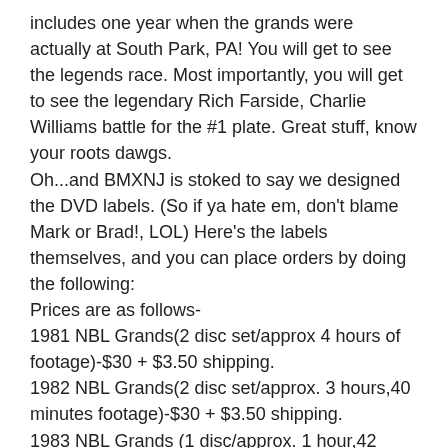includes one year when the grands were actually at South Park, PA! You will get to see the legends race. Most importantly, you will get to see the legendary Rich Farside, Charlie Williams battle for the #1 plate. Great stuff, know your roots dawgs.
Oh...and BMXNJ is stoked to say we designed the DVD labels. (So if ya hate em, don't blame Mark or Brad!, LOL) Here's the labels themselves, and you can place orders by doing the following:
Prices are as follows-
1981 NBL Grands(2 disc set/approx 4 hours of footage)-$30 + $3.50 shipping.
1982 NBL Grands(2 disc set/approx. 3 hours,40 minutes footage)-$30 + $3.50 shipping.
1983 NBL Grands (1 disc/approx. 1 hour,42 minutes footage)-$25 + $3.50 shipping.
Pay with your Pay Pal Account by sending payment to marklopezeai@comcast.net
Also you can send Mark an e-mail at the same e-mail